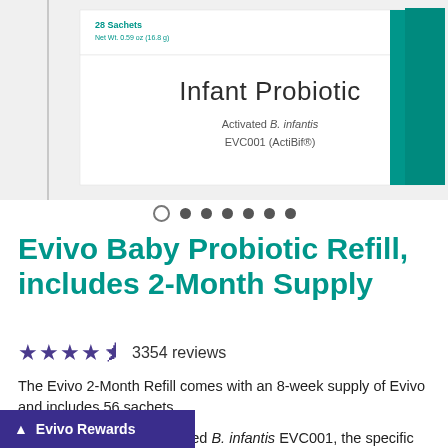[Figure (photo): Evivo Infant Probiotic product box showing '28 Sachets, Net Wt. 0.59 oz (16.8 g)', 'Infant Probiotic', 'Activated B. infantis EVC001 (ActiBif®)' in teal/white colors, angled view with multiple boxes visible.]
Evivo Baby Probiotic Refill, includes 2-Month Supply
★★★★½ 3354 reviews
The Evivo 2-Month Refill comes with an 8-week supply of Evivo and includes 56 sachets.
Only Evivo contains activated B. infantis EVC001, the specific strain that is clinically proven to work with breast milk to thrive and protect baby's gut.
▲ Evivo Rewards